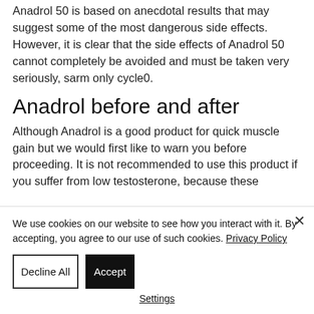Anadrol 50 is based on anecdotal results that may suggest some of the most dangerous side effects. However, it is clear that the side effects of Anadrol 50 cannot completely be avoided and must be taken very seriously, sarm only cycle0.
Anadrol before and after
Although Anadrol is a good product for quick muscle gain but we would first like to warn you before proceeding. It is not recommended to use this product if you suffer from low testosterone, because these
We use cookies on our website to see how you interact with it. By accepting, you agree to our use of such cookies. Privacy Policy
Decline All
Accept
Settings